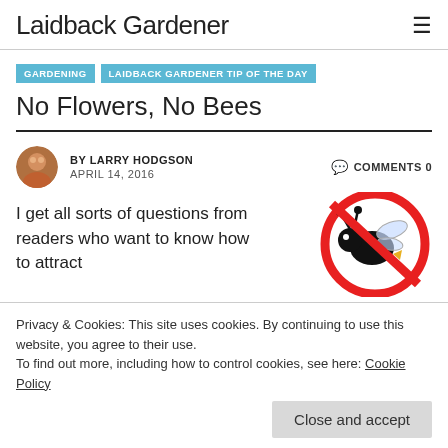Laidback Gardener
GARDENING
LAIDBACK GARDENER TIP OF THE DAY
No Flowers, No Bees
BY LARRY HODGSON
APRIL 14, 2016
COMMENTS 0
I get all sorts of questions from readers who want to know how to attract
[Figure (illustration): A no-bee symbol: a cartoon bee inside a red prohibition circle (red circle with diagonal line)]
Privacy & Cookies: This site uses cookies. By continuing to use this website, you agree to their use.
To find out more, including how to control cookies, see here: Cookie Policy
Close and accept
parent whose child is allergic to bee stings or from